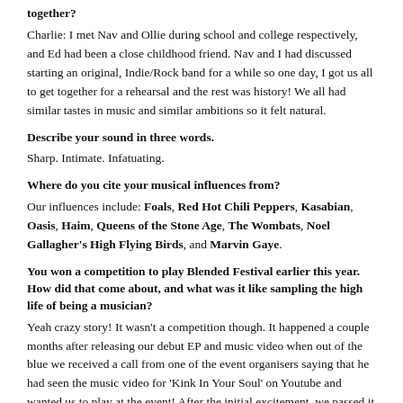together?
Charlie: I met Nav and Ollie during school and college respectively, and Ed had been a close childhood friend. Nav and I had discussed starting an original, Indie/Rock band for a while so one day, I got us all to get together for a rehearsal and the rest was history! We all had similar tastes in music and similar ambitions so it felt natural.
Describe your sound in three words.
Sharp. Intimate. Infatuating.
Where do you cite your musical influences from?
Our influences include: Foals, Red Hot Chili Peppers, Kasabian, Oasis, Haim, Queens of the Stone Age, The Wombats, Noel Gallagher's High Flying Birds, and Marvin Gaye.
You won a competition to play Blended Festival earlier this year. How did that come about, and what was it like sampling the high life of being a musician?
Yeah crazy story! It wasn't a competition though. It happened a couple months after releasing our debut EP and music video when out of the blue we received a call from one of the event organisers saying that he had seen the music video for 'Kink In Your Soul' on Youtube and wanted us to play at the event! After the initial excitement, we passed it off as too good to be true but next thing we knew flights were booked and we were on our way.
When was the next step you would like to make during the...